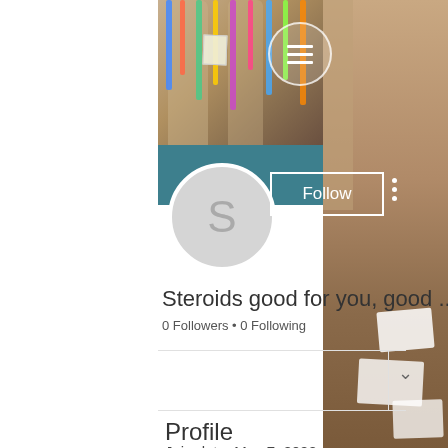[Figure (screenshot): Social media profile page screenshot showing a banner with art installation photo (colorful hanging ribbons in a historic building), a teal/dark teal background, a circular profile avatar with letter S, a Follow button, follower count, and Profile section with join date.]
Steroids good for you, good ...
0 Followers • 0 Following
Profile
Join date: May 7, 2022